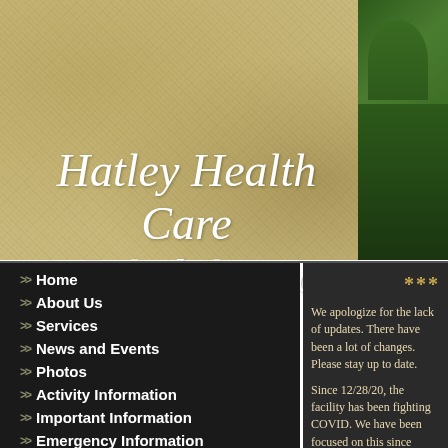[Figure (photo): Tan/khaki textured background banner with photo of trees/building in top-right corner]
Hatley Health Care & Rehabilitation
Home
About Us
Services
News and Events
Photos
Activity Information
Important Information
Emergency Information
***
We apologize for the lack of updates. There have been a lot of changes. Please stay up to date.
Since 12/28/20, the facility has been fighting COVID. We have been focused on this since 12/10/20! We are co...